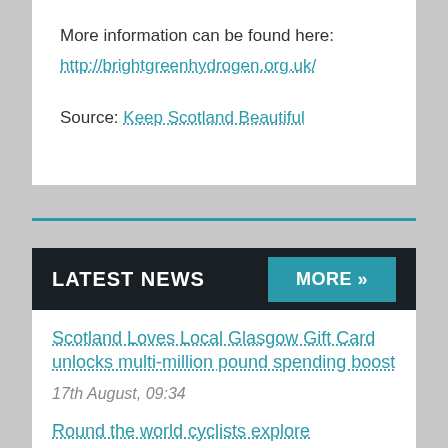More information can be found here: http://brightgreenhydrogen.org.uk/
Source: Keep Scotland Beautiful
LATEST NEWS
MORE »
Scotland Loves Local Glasgow Gift Card unlocks multi-million pound spending boost
17th August, 09:34
Round the world cyclists explore Scotland's